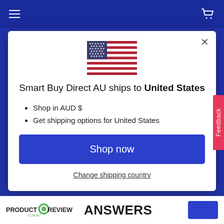[Figure (screenshot): Blue navigation bar with hamburger menu icon on the left and shopping cart icon on the right]
[Figure (illustration): US flag SVG illustration centered at top of modal]
Smart Buy Direct AU ships to United States
Shop in AUD $
Get shipping options for United States
Shop now
Change shipping country
[Figure (screenshot): ProductReview.com.au logo and ANSWERS text at bottom with blue button]
Feedback